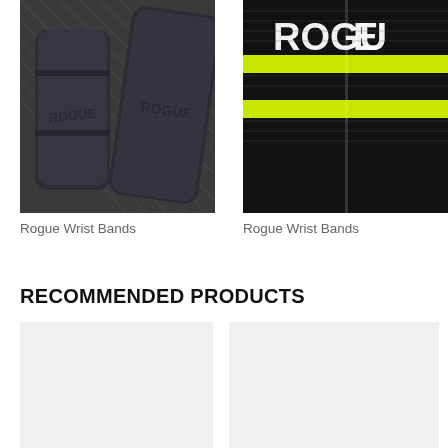[Figure (photo): Close-up photo of two dark gray/charcoal Rogue Wrist Bands with textured pattern and ROGUE text embossed]
[Figure (photo): Close-up photo of a black and neon yellow striped Rogue Wrist Band with ROGUE text in white]
Rogue Wrist Bands
Rogue Wrist Bands
RECOMMENDED PRODUCTS
[Figure (photo): Product image placeholder for recommended product (left)]
[Figure (photo): Product image placeholder for recommended product (right)]